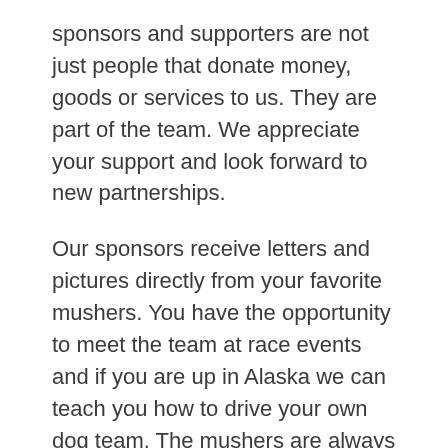sponsors and supporters are not just people that donate money, goods or services to us. They are part of the team. We appreciate your support and look forward to new partnerships.
Our sponsors receive letters and pictures directly from your favorite mushers. You have the opportunity to meet the team at race events and if you are up in Alaska we can teach you how to drive your own dog team. The mushers are always willing to travel to speak to our sponsors and supporters and to school and other groups that would like to learn more about living a life with dogs!
If you would like to find out more, comment below